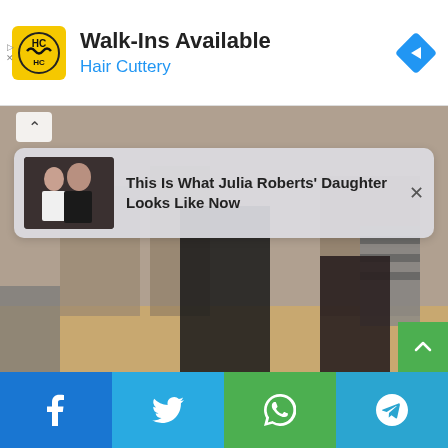[Figure (screenshot): Hair Cuttery advertisement banner with logo, 'Walk-Ins Available' heading, 'Hair Cuttery' subtitle in blue, and navigation icon]
[Figure (photo): Background photo of people standing outdoors in a sandy/dusty environment, with a floating notification card overlay reading 'This Is What Julia Roberts' Daughter Looks Like Now']
[Figure (screenshot): Social sharing bar at bottom with Facebook, Twitter, WhatsApp, and Telegram buttons]